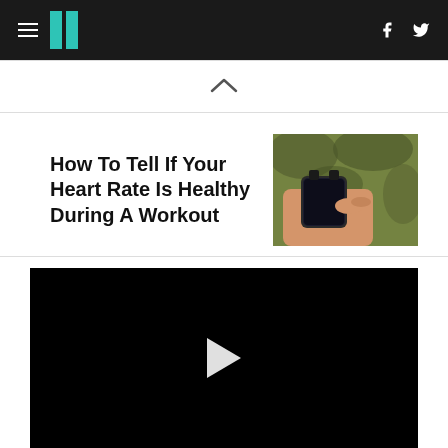HuffPost navigation with hamburger menu, logo, Facebook and Twitter icons
[Figure (other): Chevron/caret up arrow indicating scroll or collapse]
How To Tell If Your Heart Rate Is Healthy During A Workout
[Figure (photo): Person checking smartwatch during outdoor workout, green foliage background]
[Figure (other): Black video player with white play button triangle in center]